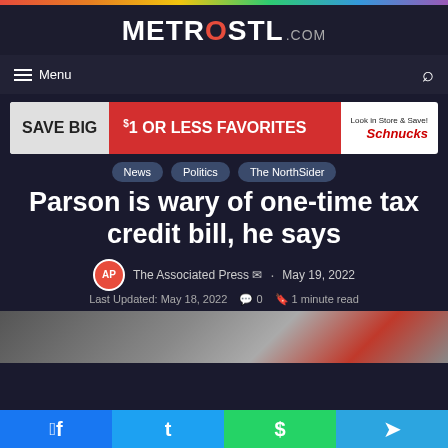METROSTL.COM
Menu
[Figure (infographic): Schnucks advertisement: SAVE BIG $1 OR LESS FAVORITES Look in Store & Save!]
News
Politics
The NorthSider
Parson is wary of one-time tax credit bill, he says
The Associated Press · May 19, 2022
Last Updated: May 18, 2022  0  1 minute read
[Figure (photo): Partial news article photo at bottom of page]
Share buttons: Facebook, Twitter, WhatsApp, Telegram